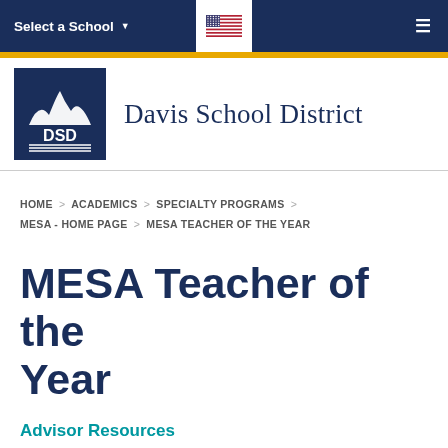Select a School  [flag]  [menu]
[Figure (logo): Davis School District DSD logo — white mountain/bird silhouette and DSD text on navy blue background with horizontal lines]
Davis School District
HOME > ACADEMICS > SPECIALTY PROGRAMS > MESA - HOME PAGE > MESA TEACHER OF THE YEAR
MESA Teacher of the Year
Advisor Resources